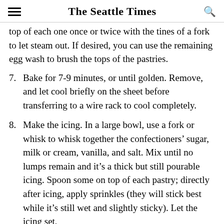The Seattle Times
top of each one once or twice with the tines of a fork to let steam out. If desired, you can use the remaining egg wash to brush the tops of the pastries.
7. Bake for 7-9 minutes, or until golden. Remove, and let cool briefly on the sheet before transferring to a wire rack to cool completely.
8. Make the icing. In a large bowl, use a fork or whisk to whisk together the confectioners’ sugar, milk or cream, vanilla, and salt. Mix until no lumps remain and it’s a thick but still pourable icing. Spoon some on top of each pastry; directly after icing, apply sprinkles (they will stick best while it’s still wet and slightly sticky). Let the icing set,